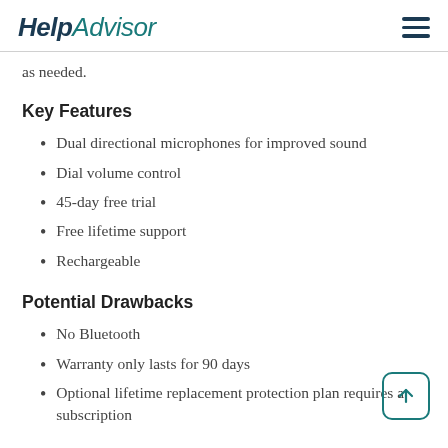HelpAdvisor
as needed.
Key Features
Dual directional microphones for improved sound
Dial volume control
45-day free trial
Free lifetime support
Rechargeable
Potential Drawbacks
No Bluetooth
Warranty only lasts for 90 days
Optional lifetime replacement protection plan requires a subscription